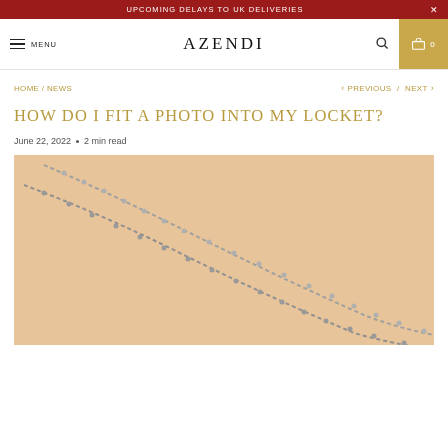UPCOMING DELAYS TO UK DELIVERIES
AZENDI — MENU / Search / Cart 0
HOME / NEWS
< PREVIOUS / NEXT >
HOW DO I FIT A PHOTO INTO MY LOCKET?
June 22, 2022 • 2 min read
[Figure (photo): A silver necklace chain photographed on a warm beige background, diagonally positioned showing chain links detail.]